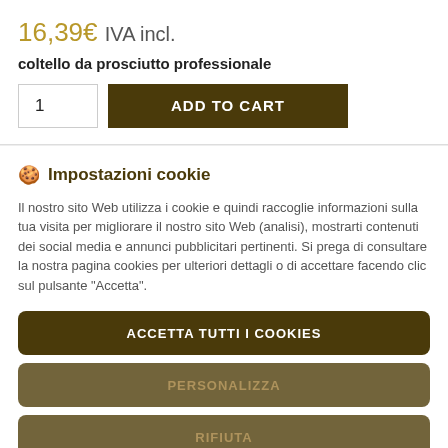16,39€ IVA incl.
coltello da prosciutto professionale
1  ADD TO CART
🍪 Impostazioni cookie
Il nostro sito Web utilizza i cookie e quindi raccoglie informazioni sulla tua visita per migliorare il nostro sito Web (analisi), mostrarti contenuti dei social media e annunci pubblicitari pertinenti. Si prega di consultare la nostra pagina cookies per ulteriori dettagli o di accettare facendo clic sul pulsante "Accetta".
ACCETTA TUTTI I COOKIES
PERSONALIZZA
RIFIUTA